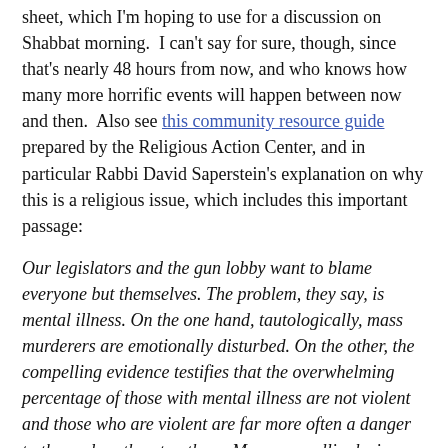sheet, which I'm hoping to use for a discussion on Shabbat morning.  I can't say for sure, though, since that's nearly 48 hours from now, and who knows how many more horrific events will happen between now and then.  Also see this community resource guide prepared by the Religious Action Center, and in particular Rabbi David Saperstein's explanation on why this is a religious issue, which includes this important passage:
Our legislators and the gun lobby want to blame everyone but themselves. The problem, they say, is mental illness. On the one hand, tautologically, mass murderers are emotionally disturbed. On the other, the compelling evidence testifies that the overwhelming percentage of those with mental illness are not violent and those who are violent are far more often a danger to themselves than to others. More compellingly, in Canada and Japan, there are people with the same mental illnesses as here in America but they don't pick up their mother's legally obtained Bushmaster and randomly shoot people.
And for those who wonder why bring up these matters while families in Florida are grieving, I reply with the words of the sage Hillel: